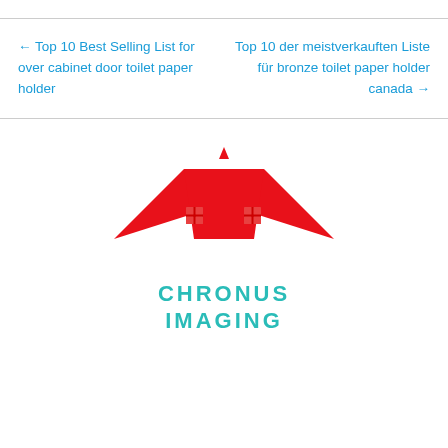← Top 10 Best Selling List for over cabinet door toilet paper holder
Top 10 der meistverkauften Liste für bronze toilet paper holder canada →
[Figure (logo): Chronus Imaging logo: red house icon with two windows and a roof, with teal text 'CHRONUS IMAGING' below]